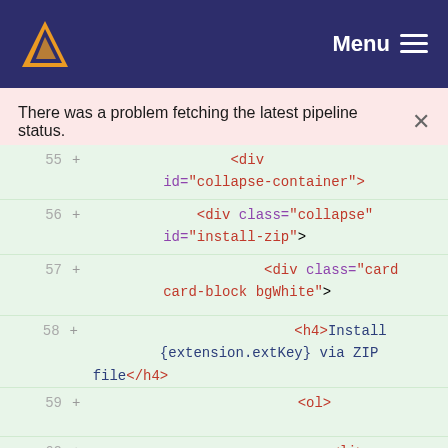Menu
There was a problem fetching the latest pipeline status.
[Figure (screenshot): Code diff view showing HTML lines 55-61 with green background, displaying div elements with ids collapse-container, collapse install-zip, card card-block bgWhite, h4 Install {extension.extKey} via ZIP file, ol, and li tags with plus signs indicating additions]